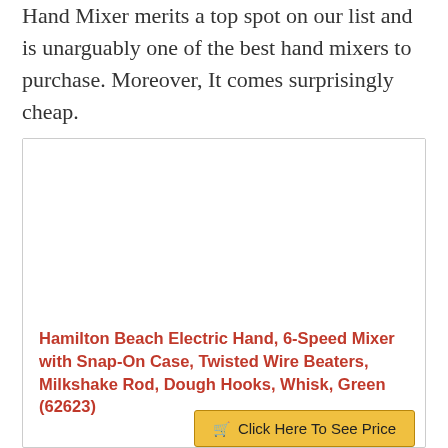Hand Mixer merits a top spot on our list and is unarguably one of the best hand mixers to purchase. Moreover, It comes surprisingly cheap.
[Figure (other): Product card with image placeholder and product title for Hamilton Beach Electric Hand, 6-Speed Mixer with Snap-On Case, Twisted Wire Beaters, Milkshake Rod, Dough Hooks, Whisk, Green (62623), with a 'Click Here To See Price' button.]